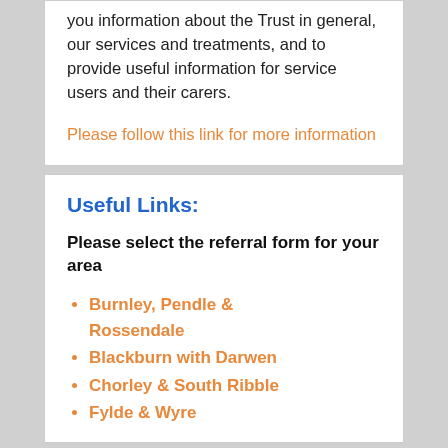you information about the Trust in general, our services and treatments, and to provide useful information for service users and their carers.
Please follow this link for more information
Useful Links:
Please select the referral form for your area
Burnley, Pendle & Rossendale
Blackburn with Darwen
Chorley & South Ribble
Fylde & Wyre